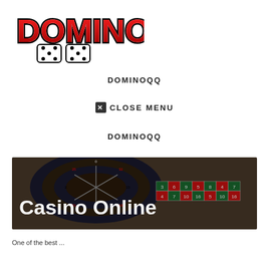[Figure (logo): DOMINO QQ logo with red stylized text and two dice icons below]
DOMINOQQ
✕ CLOSE MENU
DOMINOQQ
[Figure (photo): Casino roulette table with roulette wheel and betting grid visible, overlay text reads Casino Online]
One of the best ...